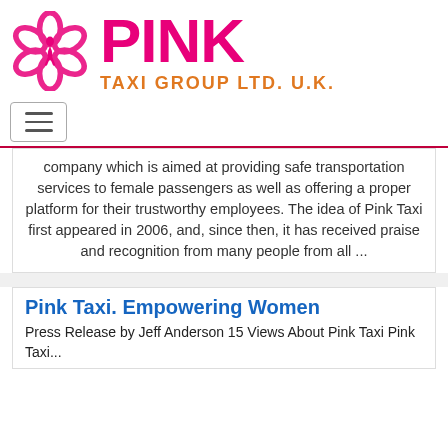[Figure (logo): Pink Taxi Group Ltd. U.K. logo with pink flower/knot icon and bold pink 'PINK' text with orange 'TAXI GROUP LTD. U.K.' subtitle]
[Figure (other): Hamburger navigation menu button with three horizontal lines]
company which is aimed at providing safe transportation services to female passengers as well as offering a proper platform for their trustworthy employees. The idea of Pink Taxi first appeared in 2006, and, since then, it has received praise and recognition from many people from all ...
Pink Taxi. Empowering Women
Press Release by Jeff Anderson 15 Views About Pink Taxi Pink Taxi...